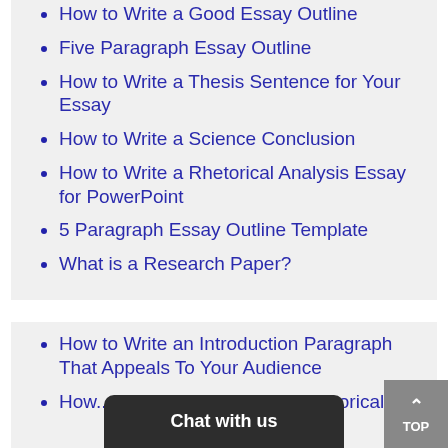How to Write a Good Essay Outline
Five Paragraph Essay Outline
How to Write a Thesis Sentence for Your Essay
How to Write a Science Conclusion
How to Write a Rhetorical Analysis Essay for PowerPoint
5 Paragraph Essay Outline Template
What is a Research Paper?
How to Write an Introduction Paragraph That Appeals To Your Audience
How... torical ...